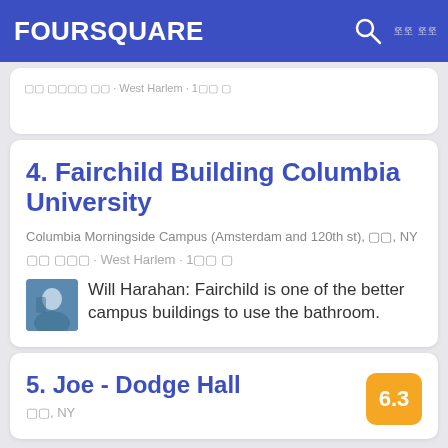FOURSQUARE
□□ □□□□ □□ · West Harlem · 1□□ □
4. Fairchild Building Columbia University
Columbia Morningside Campus (Amsterdam and 120th st), □□, NY
□□ □□□ · West Harlem · 1□□ □
Will Harahan: Fairchild is one of the better campus buildings to use the bathroom.
5. Joe - Dodge Hall
□□, NY